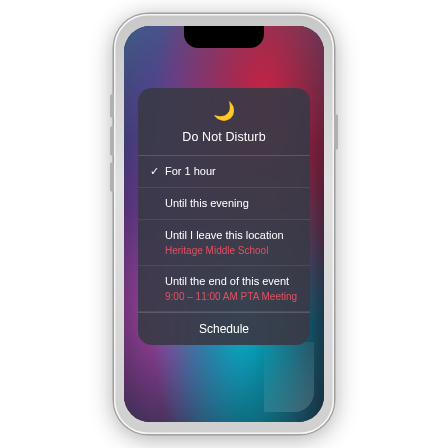[Figure (screenshot): iPhone X showing a 'Do Not Disturb' contextual menu on the lock screen. The menu card shows: a crescent moon icon, 'Do Not Disturb' title, then menu items: 'For 1 hour' (checked), 'Until this evening', 'Until I leave this location' with subtitle 'Heritage Middle School' in red, 'Until the end of this event' with subtitle '9:00 – 11:00 AM PTA Meeting' in red, and 'Schedule' at the bottom. The phone background shows a colorful gradient with blue, red/magenta, and teal tones.]